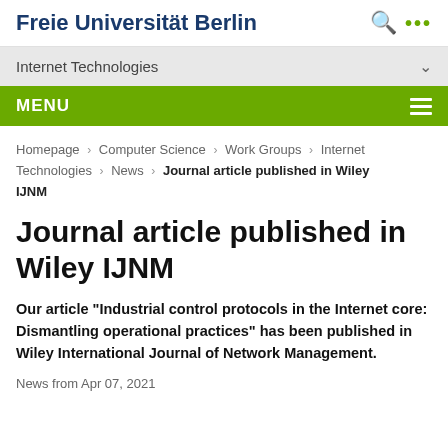Freie Universität Berlin
Internet Technologies
MENU
Homepage > Computer Science > Work Groups > Internet Technologies > News > Journal article published in Wiley IJNM
Journal article published in Wiley IJNM
Our article "Industrial control protocols in the Internet core: Dismantling operational practices" has been published in Wiley International Journal of Network Management.
News from Apr 07, 2021